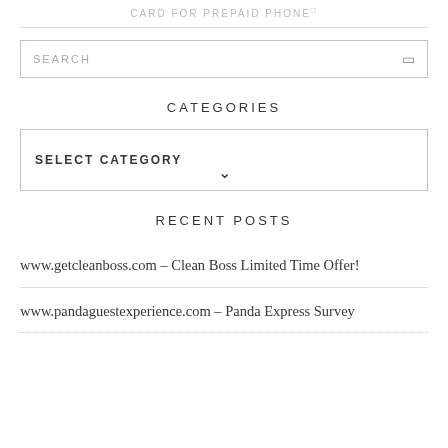CARD FOR PREPAID PHONE[]
SEARCH
CATEGORIES
SELECT CATEGORY
RECENT POSTS
www.getcleanboss.com – Clean Boss Limited Time Offer!
www.pandaguestexperience.com – Panda Express Survey